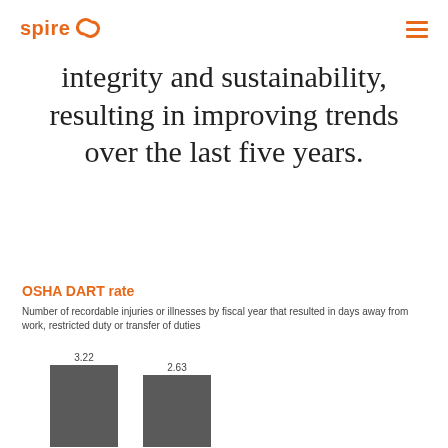spire
integrity and sustainability, resulting in improving trends over the last five years.
OSHA DART rate
Number of recordable injuries or illnesses by fiscal year that resulted in days away from work, restricted duty or transfer of duties
[Figure (bar-chart): OSHA DART rate]